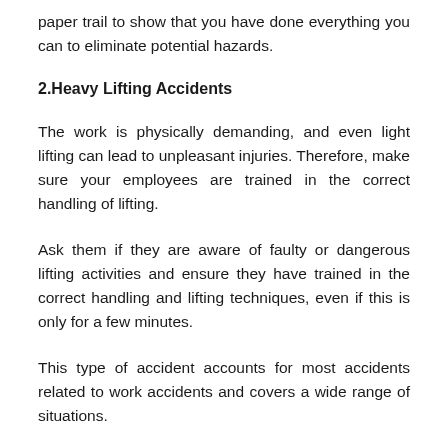paper trail to show that you have done everything you can to eliminate potential hazards.
2.Heavy Lifting Accidents
The work is physically demanding, and even light lifting can lead to unpleasant injuries. Therefore, make sure your employees are trained in the correct handling of lifting.
Ask them if they are aware of faulty or dangerous lifting activities and ensure they have trained in the correct handling and lifting techniques, even if this is only for a few minutes.
This type of accident accounts for most accidents related to work accidents and covers a wide range of situations.
By getting your employees to move, lift and carry objects, you are less likely to have an accident. Ensure employees